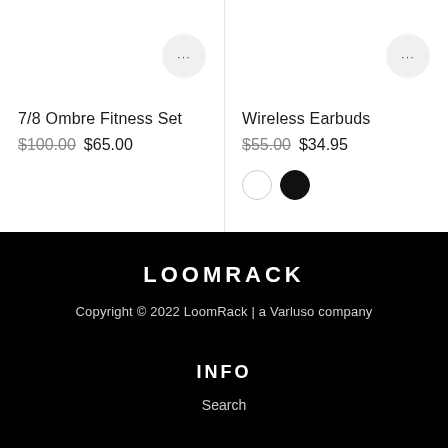7/8 Ombre Fitness Set
$100.00 $65.00
Wireless Earbuds
$55.00 $34.95
LOOMRACK
Copyright © 2022 LoomRack | a Varluso company
INFO
Search